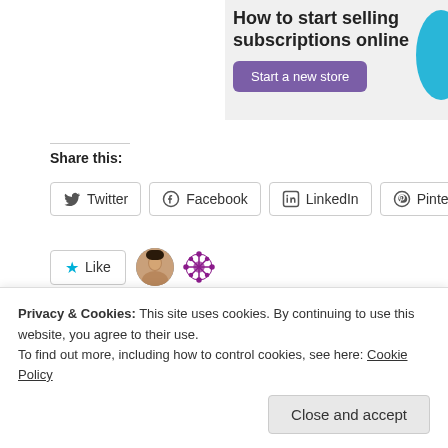[Figure (screenshot): Ad banner: 'How to start selling subscriptions online' with a purple 'Start a new store' button and a blue decorative circle]
Share this:
Twitter
Facebook
LinkedIn
Pinterest
Tumblr
[Figure (illustration): Like button with star icon, two blogger avatars (a face photo and a purple snowflake icon)]
2 bloggers like this.
Related
Privacy & Cookies: This site uses cookies. By continuing to use this website, you agree to their use.
To find out more, including how to control cookies, see here: Cookie Policy